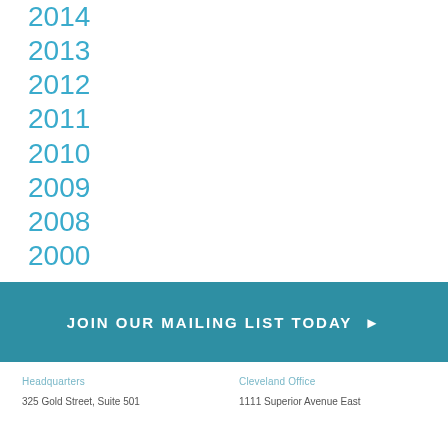2014
2013
2012
2011
2010
2009
2008
2000
JOIN OUR MAILING LIST TODAY ▶
Headquarters
325 Gold Street, Suite 501
Cleveland Office
1111 Superior Avenue East